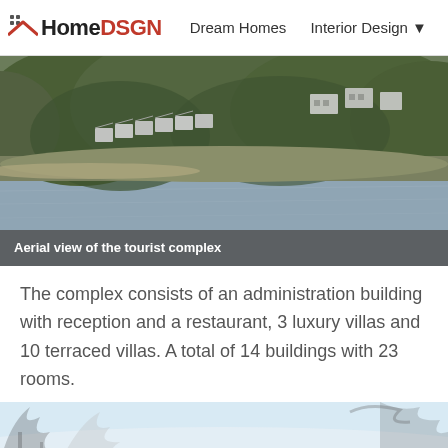HomeDSGN   Dream Homes   Interior Design ▼   Hou
[Figure (photo): Aerial view of a tourist complex with villas nestled in dense green hillside forest above a wide calm body of water. White terraced villa structures visible among the trees.]
Aerial view of the tourist complex
The complex consists of an administration building with reception and a restaurant, 3 luxury villas and 10 terraced villas. A total of 14 buildings with 23 rooms.
[Figure (photo): Partial view of tree branches silhouetted against a light blue sky, bottom portion of page.]